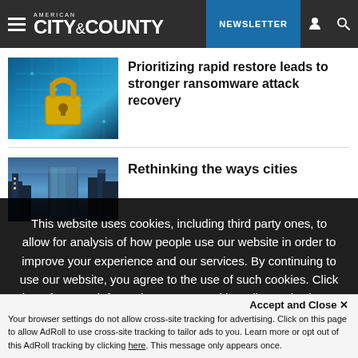AMERICAN CITY & COUNTY — NEWSLETTER
[Figure (photo): Gold padlock on blue digital circuit background]
Prioritizing rapid restore leads to stronger ransomware attack recovery
[Figure (photo): City buildings and urban skyline at dusk]
Rethinking the ways cities
This website uses cookies, including third party ones, to allow for analysis of how people use our website in order to improve your experience and our services. By continuing to use our website, you agree to the use of such cookies. Click here for more information on our Cookie Policy and Privacy Policy
Accept and Close ✕
Your browser settings do not allow cross-site tracking for advertising. Click on this page to allow AdRoll to use cross-site tracking to tailor ads to you. Learn more or opt out of this AdRoll tracking by clicking here. This message only appears once.